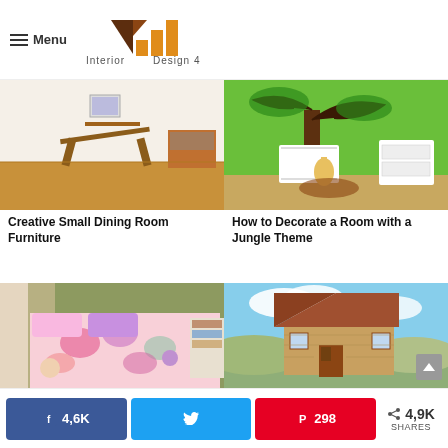Menu | Interior Design 4 — better living, better Designing
[Figure (photo): Small dining room with wooden folding table and chairs on hardwood floor, with a cabinet/microwave unit]
Creative Small Dining Room Furniture
[Figure (photo): Children's room decorated with jungle theme, green walls with tree murals, white crib, giraffe plush toy]
How to Decorate a Room with a Jungle Theme
[Figure (photo): Colorful girls bedroom with floral bedding in pink, purple and green tones]
[Figure (photo): Small wooden cabin/tiny house outdoors under blue sky]
4,6K  [Twitter share]  298  4,9K SHARES